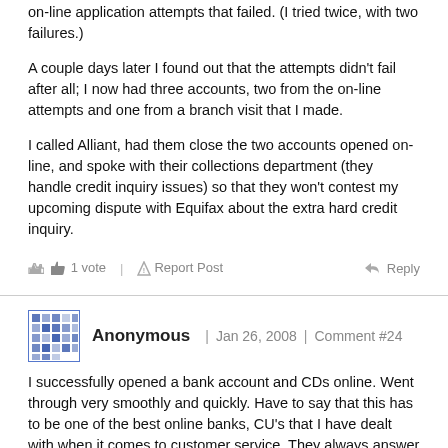on-line application attempts that failed. (I tried twice, with two failures.)
A couple days later I found out that the attempts didn't fail after all; I now had three accounts, two from the on-line attempts and one from a branch visit that I made.
I called Alliant, had them close the two accounts opened on-line, and spoke with their collections department (they handle credit inquiry issues) so that they won't contest my upcoming dispute with Equifax about the extra hard credit inquiry.
👍 1 vote | ⚠ Report Post   ↩ Reply
Anonymous | Jan 26, 2008 | Comment #24
I successfully opened a bank account and CDs online. Went through very smoothly and quickly. Have to say that this has to be one of the best online banks, CU's that I have dealt with when it comes to customer service. They always answer their phone within first minute (no matter what time I've called) and have been friendly and helpful. I have also emailed them a question and received a quick reply. All in all, very nice indeed. Also, the more I use their online Skybranch service, the more I like this account.
👍 1 vote | ⚠ Report Post   ↩ Reply